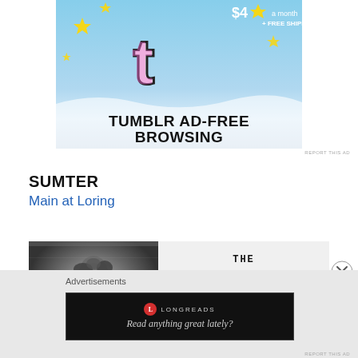[Figure (illustration): Tumblr ad-free browsing advertisement banner showing the Tumblr 't' logo with sparkle stars on a blue sky background, with price '$4 a month + FREE SHIPPING' and text 'TUMBLR AD-FREE BROWSING']
REPORT THIS AD
SUMTER
Main at Loring
[Figure (photo): Black and white photo of a person with curly hair, alongside text block reading 'THE DOWNTOWNER MOTOR INN'S GOLD']
Advertisements
[Figure (illustration): Longreads advertisement with dark background showing Longreads logo and tagline 'Read anything great lately?']
REPORT THIS AD